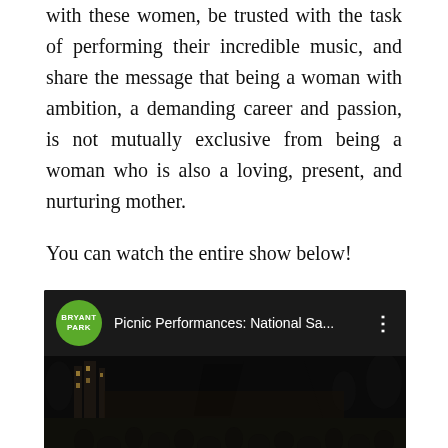with these women, be trusted with the task of performing their incredible music, and share the message that being a woman with ambition, a demanding career and passion, is not mutually exclusive from being a woman who is also a loving, present, and nurturing mother.
You can watch the entire show below!
[Figure (screenshot): YouTube video embed showing Bryant Park channel with title 'Picnic Performances: National Sa...' and thumbnail of a nighttime outdoor crowd scene on a lawn]